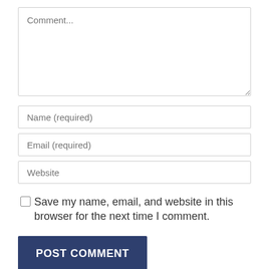[Figure (screenshot): A web comment form with a large textarea placeholder 'Comment...', input fields for Name (required), Email (required), Website, a checkbox to save name/email/website in browser, and a POST COMMENT button.]
Comment...
Name (required)
Email (required)
Website
Save my name, email, and website in this browser for the next time I comment.
POST COMMENT